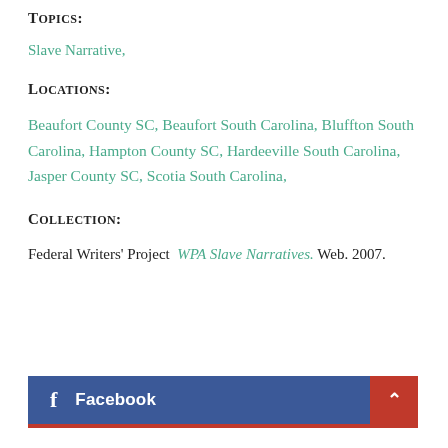Topics:
Slave Narrative,
Locations:
Beaufort County SC, Beaufort South Carolina, Bluffton South Carolina, Hampton County SC, Hardeeville South Carolina, Jasper County SC, Scotia South Carolina,
Collection:
Federal Writers' Project  WPA Slave Narratives. Web. 2007.
Facebook